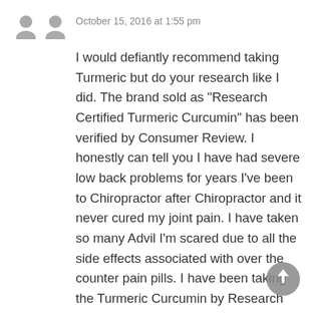[Figure (illustration): Two grey user avatar silhouette icons side by side]
October 15, 2016 at 1:55 pm
I would defiantly recommend taking Turmeric but do your research like I did. The brand sold as "Research Certified Turmeric Curcumin" has been verified by Consumer Review. I honestly can tell you I have had severe low back problems for years I've been to Chiropractor after Chiropractor and it never cured my joint pain. I have taken so many Advil I'm scared due to all the side effects associated with over the counter pain pills. I have been taking the Turmeric Curcumin by Research Certified for about 8 days and seriously it's helping. I notice it doesn't hurt to get up after sitting or getting out of bed. I would recommend Turmeric because it is a natural herb from the earth. I am
[Figure (illustration): Circular grey scroll-to-top button with upward arrow icon]